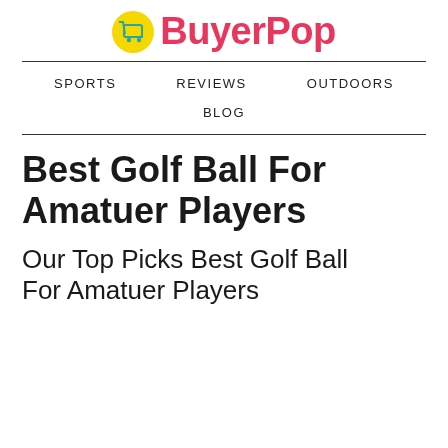[Figure (logo): BuyerPop logo with yellow circle containing a teal shopping cart icon, and pink/red bold text 'BuyerPop']
SPORTS   REVIEWS   OUTDOORS   BLOG
Best Golf Ball For Amatuer Players
Our Top Picks Best Golf Ball For Amatuer Players